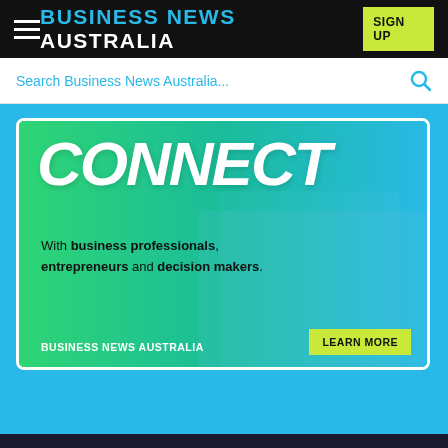BUSINESS NEWS AUSTRALIA | SIGN UP
Search Business News Australia...
[Figure (illustration): Business News Australia promotional banner with gradient green-to-teal background, large italic white brush-script CONNECT text, subtext reading 'With business professionals, entrepreneurs and decision makers.', Business News Australia logo in white at bottom left, and a yellow-green LEARN MORE button at bottom right.]